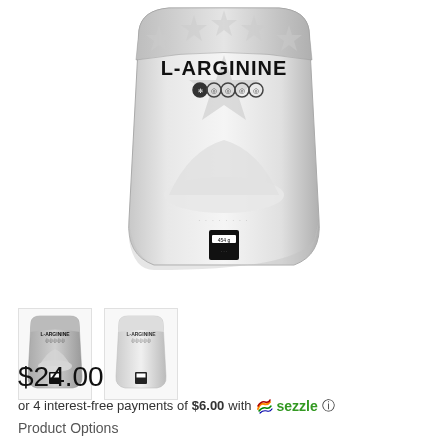[Figure (photo): Main product photo: white/silver mylar stand-up pouch labeled L-ARGININE with star pattern, small icons, and a pile of white powder visible through window. Black label at bottom of pouch.]
[Figure (photo): Thumbnail 1: small version of the L-ARGININE pouch showing front with label, darker background tones.]
[Figure (photo): Thumbnail 2: small version of the L-ARGININE pouch showing alternate angle, lighter/white background.]
$24.00
or 4 interest-free payments of $6.00 with Sezzle ⓘ
Product Options